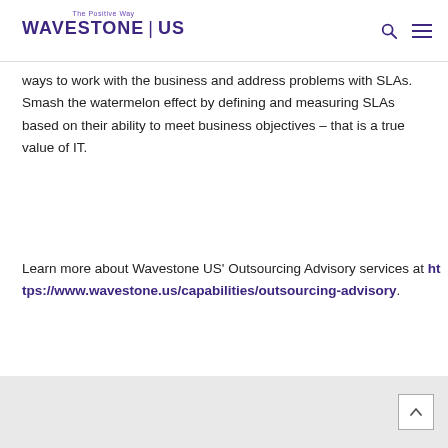The Positive Way | WAVESTONE | US
ways to work with the business and address problems with SLAs. Smash the watermelon effect by defining and measuring SLAs based on their ability to meet business objectives – that is a true value of IT.
Learn more about Wavestone US' Outsourcing Advisory services at https://www.wavestone.us/capabilities/outsourcing-advisory.